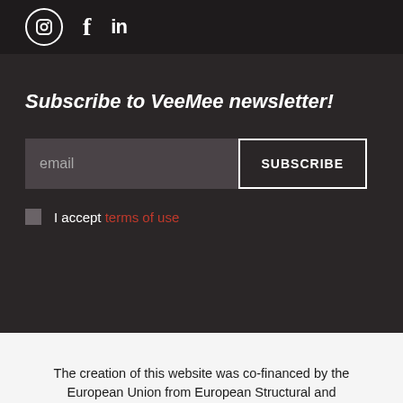[Figure (logo): Social media icons: Instagram (circle icon), Facebook (f), LinkedIn (in)]
Subscribe to VeeMee newsletter!
email [input field] SUBSCRIBE button
I accept terms of use
The creation of this website was co-financed by the European Union from European Structural and